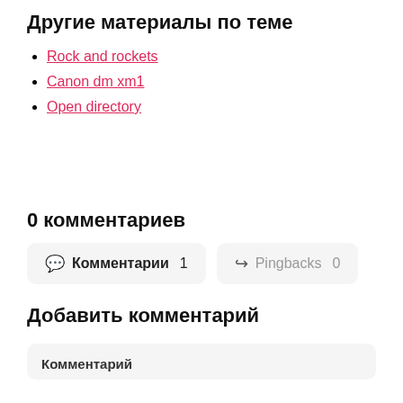Другие материалы по теме
Rock and rockets
Canon dm xm1
Open directory
0 комментариев
Комментарии 1   Pingbacks 0
Добавить комментарий
Комментарий